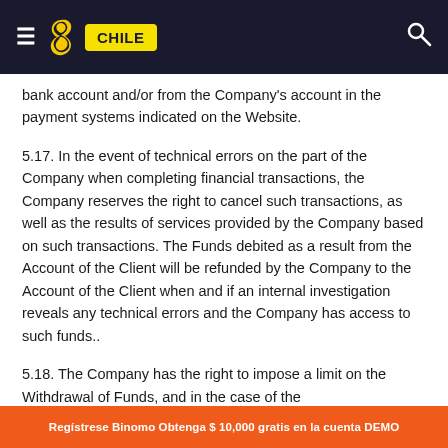CHILE
bank account and/or from the Company's account in the payment systems indicated on the Website.
5.17. In the event of technical errors on the part of the Company when completing financial transactions, the Company reserves the right to cancel such transactions, as well as the results of services provided by the Company based on such transactions. The Funds debited as a result from the Account of the Client will be refunded by the Company to the Account of the Client when and if an internal investigation reveals any technical errors and the Company has access to such funds..
5.18. The Company has the right to impose a limit on the Withdrawal of Funds, and in the case of the
Regístrese Binomo Obtenga $ 10,000 gratis en la cuenta DEMO